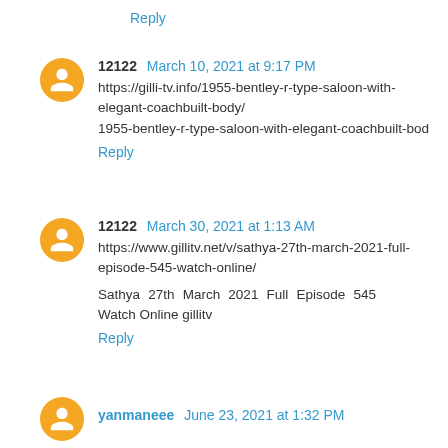Reply
12122 March 10, 2021 at 9:17 PM
https://gilli-tv.info/1955-bentley-r-type-saloon-with-elegant-coachbuilt-body/
1955-bentley-r-type-saloon-with-elegant-coachbuilt-bod
Reply
12122 March 30, 2021 at 1:13 AM
https://www.gillitv.net/v/sathya-27th-march-2021-full-episode-545-watch-online/
Sathya 27th March 2021 Full Episode 545 Watch Online gillitv
Reply
yanmaneee June 23, 2021 at 1:32 PM